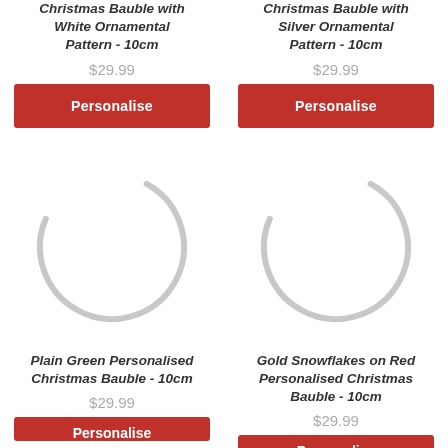Christmas Bauble with White Ornamental Pattern - 10cm
$29.99
Personalise
Christmas Bauble with Silver Ornamental Pattern - 10cm
$29.99
Personalise
[Figure (illustration): Loading spinner / circular arc icon for Plain Green Personalised Christmas Bauble]
[Figure (illustration): Loading spinner / circular arc icon for Gold Snowflakes on Red Personalised Christmas Bauble]
Plain Green Personalised Christmas Bauble - 10cm
$29.99
Personalise
Gold Snowflakes on Red Personalised Christmas Bauble - 10cm
$29.99
Personalise